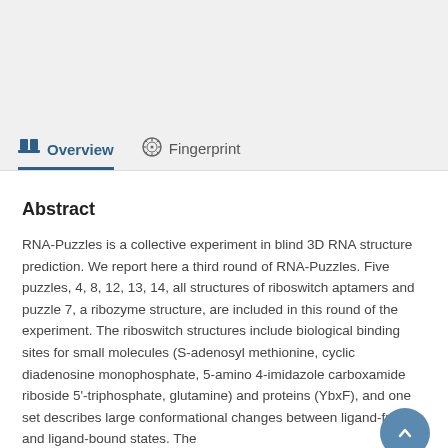Abstract
RNA-Puzzles is a collective experiment in blind 3D RNA structure prediction. We report here a third round of RNA-Puzzles. Five puzzles, 4, 8, 12, 13, 14, all structures of riboswitch aptamers and puzzle 7, a ribozyme structure, are included in this round of the experiment. The riboswitch structures include biological binding sites for small molecules (S-adenosyl methionine, cyclic diadenosine monophosphate, 5-amino 4-imidazole carboxamide riboside 5'-triphosphate, glutamine) and proteins (YbxF), and one set describes large conformational changes between ligand-free and ligand-bound states. The